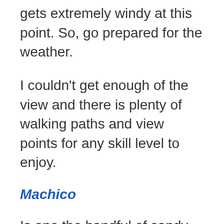gets extremely windy at this point. So, go prepared for the weather.
I couldn't get enough of the view and there is plenty of walking paths and view points for any skill level to enjoy.
Machico
Is one the handful of sandy beaches in Madeira. Shallow enough for kids to get into the water as well. There is